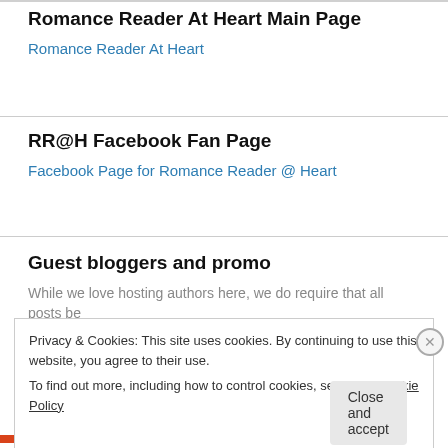Romance Reader At Heart Main Page
Romance Reader At Heart
RR@H Facebook Fan Page
Facebook Page for Romance Reader @ Heart
Guest bloggers and promo
While we love hosting authors here, we do require that all posts be
Privacy & Cookies: This site uses cookies. By continuing to use this website, you agree to their use.
To find out more, including how to control cookies, see here: Cookie Policy
Close and accept